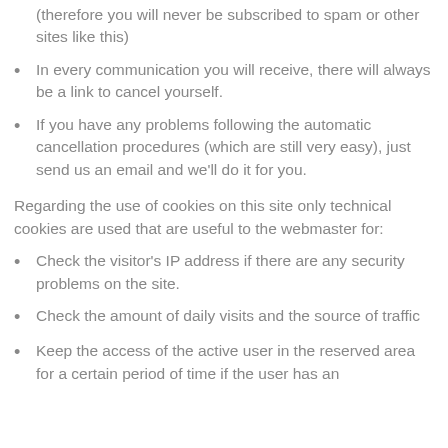(therefore you will never be subscribed to spam or other sites like this)
In every communication you will receive, there will always be a link to cancel yourself.
If you have any problems following the automatic cancellation procedures (which are still very easy), just send us an email and we'll do it for you.
Regarding the use of cookies on this site only technical cookies are used that are useful to the webmaster for:
Check the visitor's IP address if there are any security problems on the site.
Check the amount of daily visits and the source of traffic
Keep the access of the active user in the reserved area for a certain period of time if the user has an